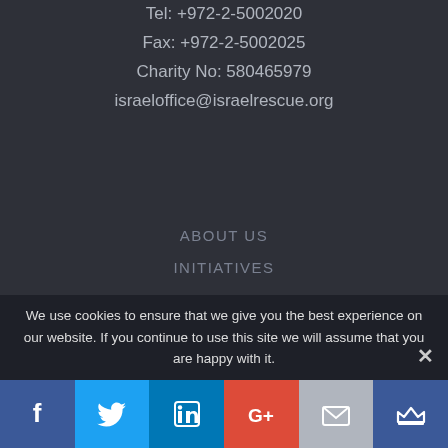Tel: +972-2-5002020
Fax: +972-2-5002025
Charity No: 580465979
israeloffice@israelrescue.org
ABOUT US
INITIATIVES
BLOG
CAMPAIGNS
NEWS & MEDIA
DONATE
CONTACT US
We use cookies to ensure that we give you the best experience on our website. If you continue to use this site we will assume that you are happy with it.
[Figure (other): Social media sharing buttons: Facebook, Twitter, LinkedIn, Google+, Email, Crown (bookmark)]